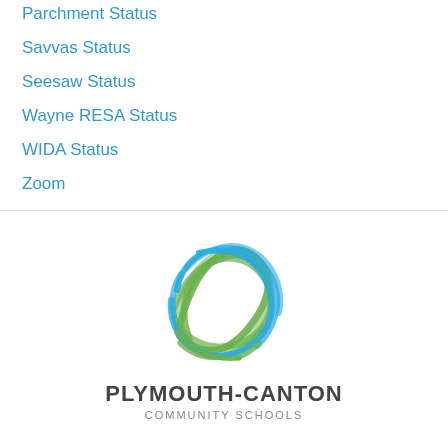Parchment Status
Savvas Status
Seesaw Status
Wayne RESA Status
WIDA Status
Zoom
[Figure (logo): Plymouth-Canton Community Schools globe logo with intertwined blue and green brushstroke lines forming a sphere]
PLYMOUTH-CANTON
COMMUNITY SCHOOLS